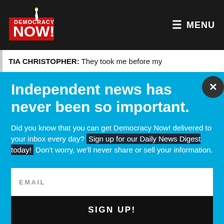Democracy Now! — MENU
TIA CHRISTOPHER: They took me before my
Independent news has never been so important.
Did you know that you can get Democracy Now! delivered to your inbox every day? Sign up for our Daily News Digest today! Don't worry, we'll never share or sell your information.
EMAIL
SIGN UP!